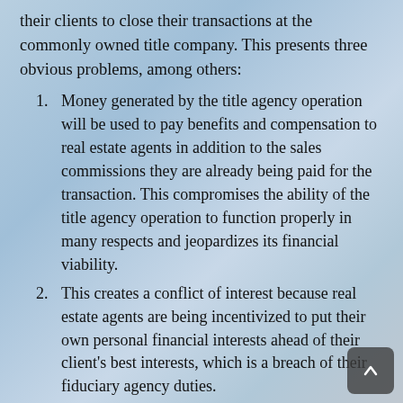their clients to close their transactions at the commonly owned title company. This presents three obvious problems, among others:
Money generated by the title agency operation will be used to pay benefits and compensation to real estate agents in addition to the sales commissions they are already being paid for the transaction. This compromises the ability of the title agency operation to function properly in many respects and jeopardizes its financial viability.
This creates a conflict of interest because real estate agents are being incentivized to put their own personal financial interests ahead of their client's best interests, which is a breach of their fiduciary agency duties.